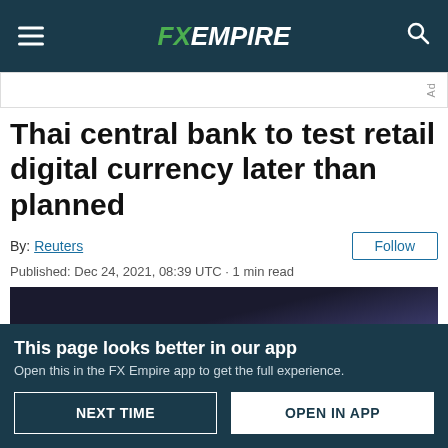FX EMPIRE
Thai central bank to test retail digital currency later than planned
By: Reuters
Published: Dec 24, 2021, 08:39 UTC · 1 min read
[Figure (photo): Dark blue abstract background image associated with the article]
This page looks better in our app
Open this in the FX Empire app to get the full experience.
NEXT TIME    OPEN IN APP